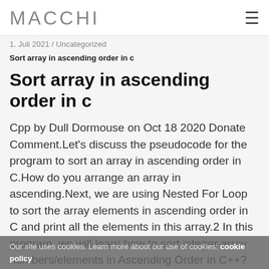MACCHI
1. Juli 2021 / Uncategorized
Sort array in ascending order in c
Sort array in ascending order in c
Cpp by Dull Dormouse on Oct 18 2020 Donate Comment.Let's discuss the pseudocode for the program to sort an array in ascending order in C.How do you arrange an array in ascending.Next, we are using Nested For Loop to sort the array elements in ascending order in C and print all the elements in this array.2 In this program, we will learn how to sort integer array numbers/elements in Ascending Order in C++?The outer loop will select an element, and inner loop allows us to compare selected element with rest of the.Pseudocode to sort array in ascending order – Selection Sort.This can be achieved through two loops.This
Our site uses cookies. Learn more about our use of cookies: cookie policy